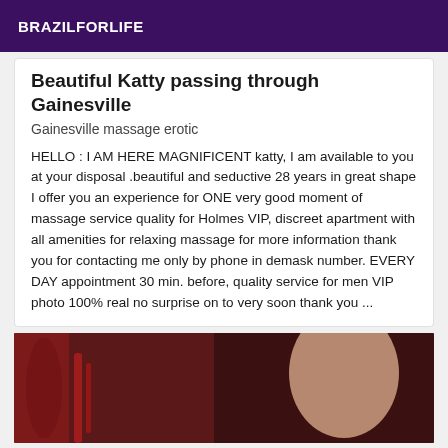BRAZILFORLIFE
Beautiful Katty passing through Gainesville
Gainesville massage erotic
HELLO : I AM HERE MAGNIFICENT katty, I am available to you at your disposal .beautiful and seductive 28 years in great shape I offer you an experience for ONE very good moment of massage service quality for Holmes VIP, discreet apartment with all amenities for relaxing massage for more information thank you for contacting me only by phone in demask number. EVERY DAY appointment 30 min. before, quality service for men VIP photo 100% real no surprise on to very soon thank you ...
[Figure (photo): Partial photo of a person against a red decorative background]